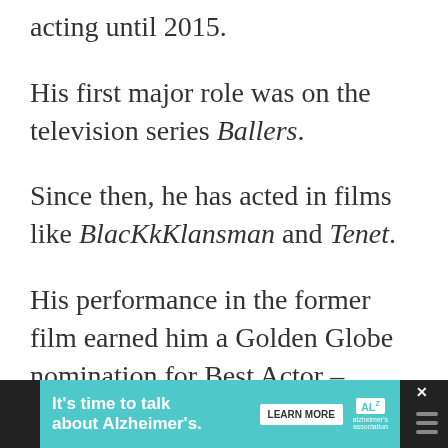acting until 2015.
His first major role was on the television series Ballers.
Since then, he has acted in films like BlacKkKlansman and Tenet.
His performance in the former film earned him a Golden Globe nomination for Best Actor – Motion Picture Drama.
[Figure (other): Advertisement banner: 'It's time to talk about Alzheimer's.' with a Learn More button and Alzheimer's Association logo on a teal background with dark surround.]